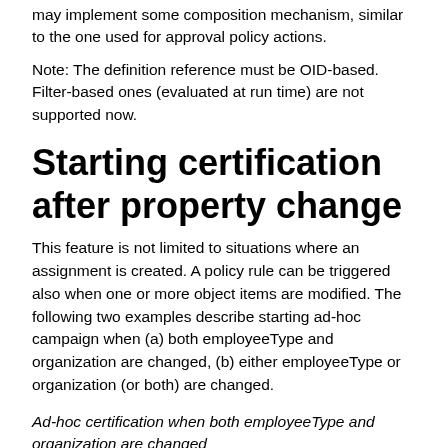may implement some composition mechanism, similar to the one used for approval policy actions.
Note: The definition reference must be OID-based. Filter-based ones (evaluated at run time) are not supported now.
Starting certification after property change
This feature is not limited to situations where an assignment is created. A policy rule can be triggered also when one or more object items are modified. The following two examples describe starting ad-hoc campaign when (a) both employeeType and organization are changed, (b) either employeeType or organization (or both) are changed.
Ad-hoc certification when both employeeType and organization are changed
<policyRule>